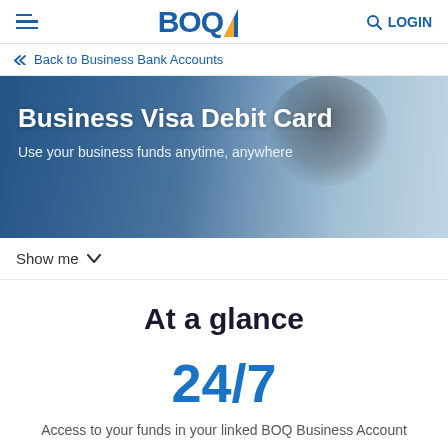BOQ | LOGIN
Back to Business Bank Accounts
[Figure (photo): Hero banner image of a smiling businessman with blue overlay gradient. Title: Business Visa Debit Card. Subtitle: Use your business funds anytime, anywhere]
Show me
At a glance
24/7
Access to your funds in your linked BOQ Business Account